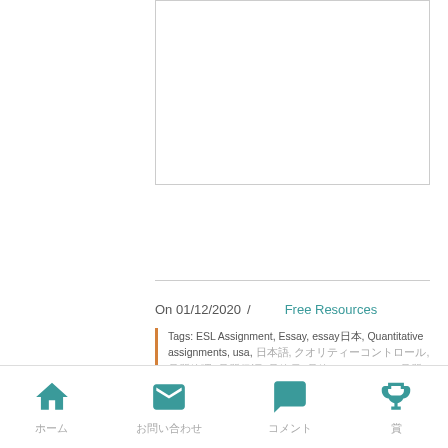[Figure (other): Blank white image placeholder with border]
On 01/12/2020 / Free Resources
Tags: ESL Assignment, Essay, essay日本, Quantitative assignments, usa, 日本語, クオリティーコントロール, 品質管理, 品質保証, 品管員, 品管マネージャー, 品質, 品質保証員, 品質, 品質管理, 品質, 品管, 品質保証, クオリティーコントロール, 品質管理, 品管員, 品質保証員, 品質, 品質管理, 品質管理, 品管マネージャー, 品管員, 品質, 品管, 品質, 品質管理, 品質保証, 品管員, 品質管理, 品管マネージャー, 品質, 品管員, 品質保証員, 品質管理, 品管員, 品質保証, 品管マネージャー, 品質, 品管員, 品質管理, 品管員, 品質, 品質保証, 品管員, 品質管理, 品管員, 品質, 品管, 品質, 品質管理, 品質保証, 品管員, 品質管理, 品管マネージャー, 品質, 品管員, 品質保証員, 品質管理
ホーム　　お問い合わせ　　コメント　　賞